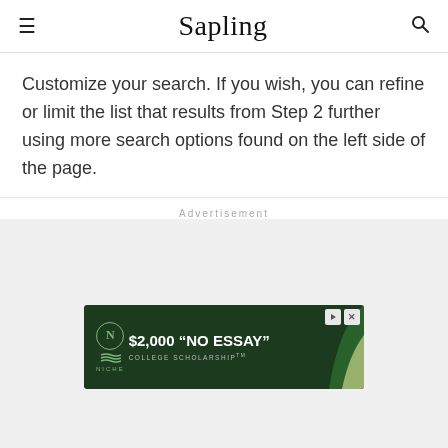Sapling
Customize your search. If you wish, you can refine or limit the list that results from Step 2 further using more search options found on the left side of the page.
Advertisement
[Figure (other): Niche $2,000 'No Essay' College Scholarship advertisement banner with dark green background]